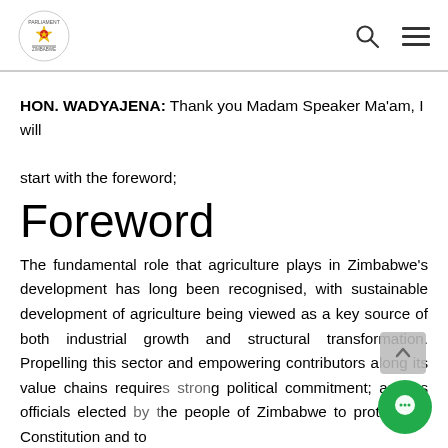Parliament of Zimbabwe
HON. WADYAJENA: Thank you Madam Speaker Ma'am, I will start with the foreword;
Foreword
The fundamental role that agriculture plays in Zimbabwe's development has long been recognised, with sustainable development of agriculture being viewed as a key source of both industrial growth and structural transformation. Propelling this sector and empowering contributors along its value chains requires strong political commitment; and as officials elected by the people of Zimbabwe to protect the Constitution and to